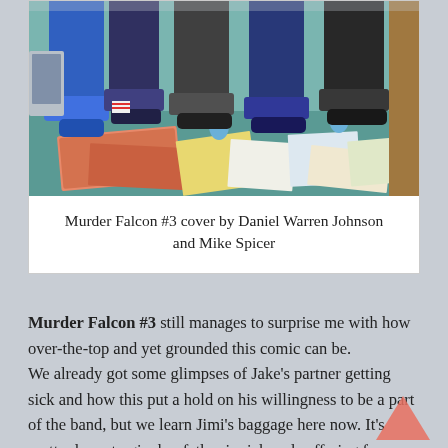[Figure (illustration): Comic book cover art showing figures sitting/standing with a messy floor covered in pizza boxes, cans, comics, and papers — lower half of the image visible showing legs, feet, and floor debris.]
Murder Falcon #3 cover by Daniel Warren Johnson and Mike Spicer
Murder Falcon #3 still manages to surprise me with how over-the-top and yet grounded this comic can be.
We already got some glimpses of Jake's partner getting sick and how this put a hold on his willingness to be a part of the band, but we learn Jimi's baggage here now. It's pretty damn tragic; her father is sick and suffering from memory loss.